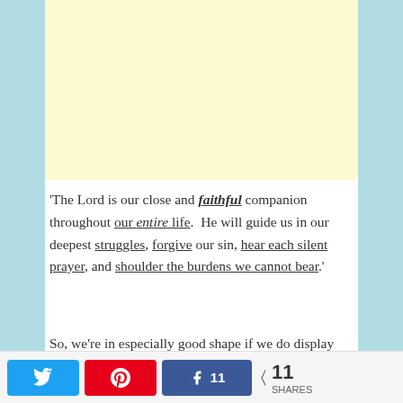[Figure (other): Yellow/cream colored advertisement block placeholder]
'The Lord is our close and faithful companion throughout our entire life.  He will guide us in our deepest struggles, forgive our sin, hear each silent prayer, and shoulder the burdens we cannot bear.'
So, we're in especially good shape if we do display authenticity day in and day out.  Love [blue bar]
Twitter share | Pinterest share | Facebook share 11 | < 11 SHARES